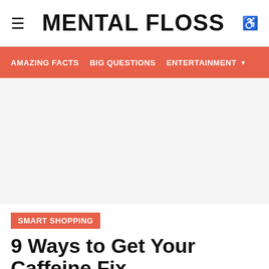≡  MENTAL FLOSS  ♿
AMAZING FACTS  BIG QUESTIONS  ENTERTAINMENT ▼
[Figure (photo): Large image placeholder area (white/light gray) for article hero image]
SMART SHOPPING
9 Ways to Get Your Caffeine Fix